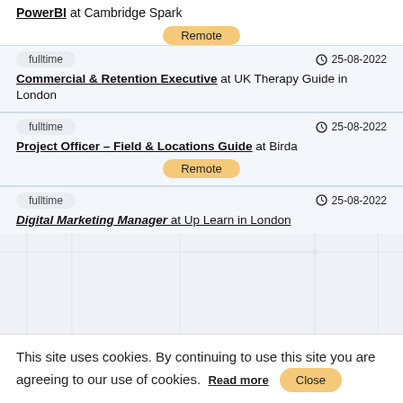PowerBI at Cambridge Spark
Remote
fulltime    25-08-2022
Commercial & Retention Executive at UK Therapy Guide in London
fulltime    25-08-2022
Project Officer – Field & Locations Guide at Birda
Remote
fulltime    25-08-2022
Digital Marketing Manager at Up Learn in London
This site uses cookies. By continuing to use this site you are agreeing to our use of cookies. Read more Close